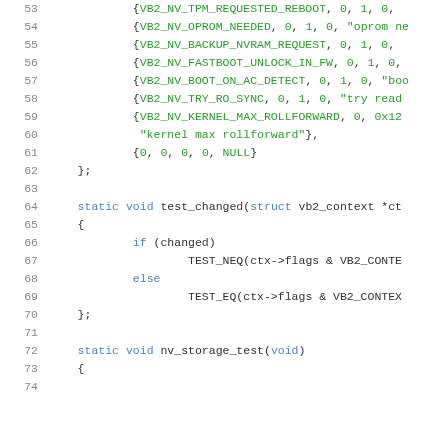[Figure (screenshot): Source code listing showing C code lines 53-74, with line numbers in grey and syntax highlighting. Keywords in blue, string/constant values in green, punctuation in dark grey.]